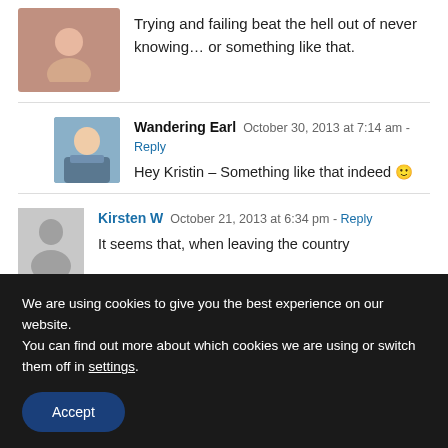Trying and failing beat the hell out of never knowing… or something like that.
Wandering Earl  October 30, 2013 at 7:14 am - Reply
Hey Kristin – Something like that indeed 🙂
Kirsten W  October 21, 2013 at 6:34 pm - Reply
It seems that, when leaving the country
We are using cookies to give you the best experience on our website.
You can find out more about which cookies we are using or switch them off in settings.
Accept